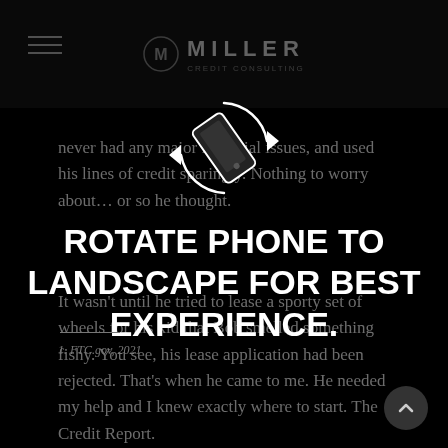MILLER
never had any major financial issues, and used his lines of credit sparingly. Nothing to worry about… or so he thought.
It wasn't until he tried to lease a sporty set of wheels for his kid that Bob smelled something fishy. You see, his lease application had been rejected. That's when he came to me. He needed my help and I knew exactly where to start. The Credit Report.
[Figure (infographic): Rotate phone icon with circular arrows, overlaid with text: ROTATE PHONE TO LANDSCAPE FOR BEST EXPERIENCE.]
1. FTC.gov, 2021